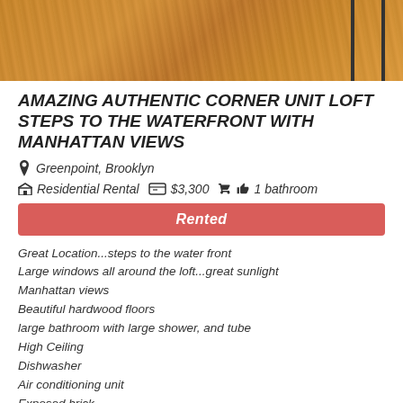[Figure (photo): Hardwood floor photo with warm orange-brown wood planks, part of a black chair/stool leg visible at right edge]
AMAZING AUTHENTIC CORNER UNIT LOFT STEPS TO THE WATERFRONT WITH MANHATTAN VIEWS
Greenpoint, Brooklyn
Residential Rental  $3,300  1 bathroom
Rented
Great Location...steps to the water front
Large windows all around the loft...great sunlight
Manhattan views
Beautiful hardwood floors
large bathroom with large shower, and tube
High Ceiling
Dishwasher
Air conditioning unit
Exposed brick
large walk-in closet